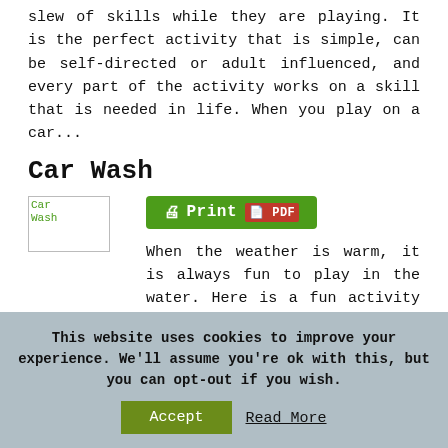slew of skills while they are playing. It is the perfect activity that is simple, can be self-directed or adult influenced, and every part of the activity works on a skill that is needed in life. When you play on a car...
Car Wash
[Figure (photo): Car Wash image placeholder]
[Figure (other): Print / PDF button - green button with printer icon, Print label, and PDF label]
When the weather is warm, it is always fun to play in the water. Here is a fun activity that has water play, with some self-care skills and fine motor skills all mixed into one activity. When washing your hands, you use visual perception and motor planning to see and physically scrub the dirt off...
This website uses cookies to improve your experience. We'll assume you're ok with this, but you can opt-out if you wish.
Accept  Read More